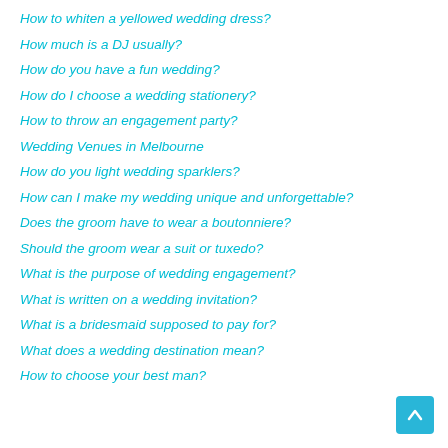How to whiten a yellowed wedding dress?
How much is a DJ usually?
How do you have a fun wedding?
How do I choose a wedding stationery?
How to throw an engagement party?
Wedding Venues in Melbourne
How do you light wedding sparklers?
How can I make my wedding unique and unforgettable?
Does the groom have to wear a boutonniere?
Should the groom wear a suit or tuxedo?
What is the purpose of wedding engagement?
What is written on a wedding invitation?
What is a bridesmaid supposed to pay for?
What does a wedding destination mean?
How to choose your best man?